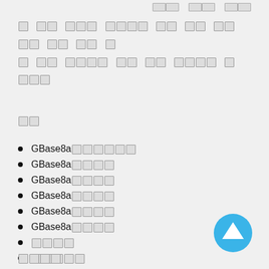[CJK boxes] [CJK boxes] [CJK boxes]
□ □□ □□□ □□□□ □□ □□ □□ □□ □□ □□ □
□ □□ □□□□ □□ □□ □□□□ □ □□□
□□
GBase8a□□□□□□
GBase8a□□□□
GBase8a□□□□
GBase8a□□□□
GBase8a□□□□
GBase8a□□□□
□□□□
□□□□□
ClickHouse
□□□□